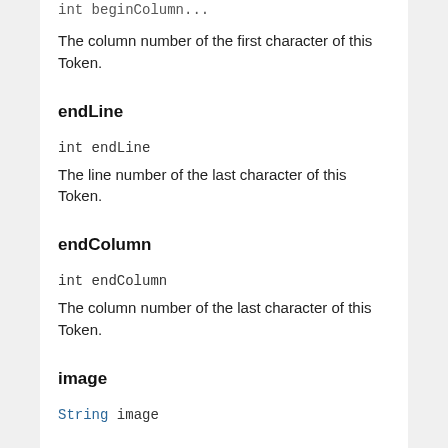int beginColumn...
The column number of the first character of this Token.
endLine
int endLine
The line number of the last character of this Token.
endColumn
int endColumn
The column number of the last character of this Token.
image
String image